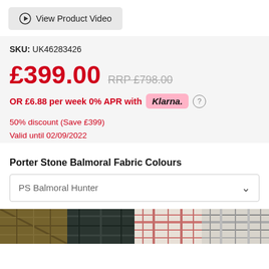[Figure (other): View Product Video button with play icon]
SKU: UK46283426
£399.00  RRP £798.00
OR £6.88 per week 0% APR with Klarna.
50% discount (Save £399)
Valid until 02/09/2022
Porter Stone Balmoral Fabric Colours
PS Balmoral Hunter
[Figure (photo): Four fabric colour swatches showing tartan/tweed patterns in olive, dark green, light tartan, and grey tartan]